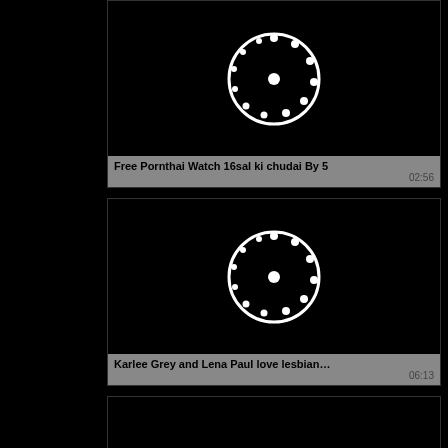[Figure (screenshot): Video thumbnail with loading spinner on black background]
Free Pornthai Watch 16sal ki chudai By 5
02:56
[Figure (screenshot): Video thumbnail with loading spinner on black background]
Karlee Grey and Lena Paul love lesbian…
06:13
[Figure (screenshot): Video thumbnail with loading spinner on black background, partially visible]